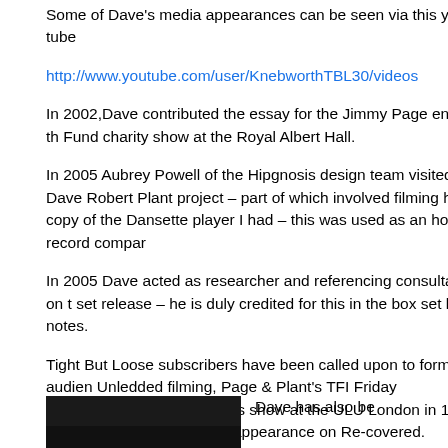Some of Dave's media appearances can be seen via this you tube
http://www.youtube.com/user/KnebworthTBL30/videos
In 2002,Dave contributed the essay for the Jimmy Page entry in th Fund charity show at the Royal Albert Hall.
In 2005 Aubrey Powell of the Hipgnosis design team visited Dave Robert Plant project – part of which involved filming his copy of the Dansette player I had – this was used as an house record compar
In 2005 Dave acted as researcher and referencing consultant on t set release – he is duly credited for this in the box set liner notes.
Tight But Loose subscribers have been called upon to form audien Unledded filming, Page & Plant's TFI Friday appearance, Page & winners show at the ULU London in 1998, the recording of Robert his appearance on Re-covered.
[Figure (photo): Dark/black photograph, partially visible at bottom of page]
Dave has also be